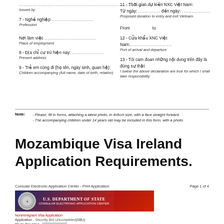Issued by
7 - Nghề nghiệp .................................
Profession
Nơi làm việc .......................................
Place of employment
8 - Địa chỉ cư trú hiện nay: ...................
Present address
9 - Trẻ em cùng đi (họ tên, ngày sinh, quan hệ):
Children accompanying (full name, date of birth, relation)
11 - Thời gian dự kiến NXC Việt Nam:
Từ ngày: ............. đến ngày: .................
Proposed duration to entry and exit Vietnam
From                    to
12 - Cửa khẩu XNC Việt Nam:.........................
Port of arrival and departure
13 - Tôi cam đoan những nội dung trên đây là đúng sự thật
I swear the above declaration are true for which I shall take responsibility
Làm tại ..................ngày........................
Done at                         on
Ký tên
Signature
Note:
- Please, fill in forms, attaching a latest photo, in 4x6cm size, with a face straight forward.
- The accompanying children under 14 years old may be included in this form, with a photo.
Mozambique Visa Ireland Application Requirements.
[Figure (screenshot): Screenshot of Consular Electronic Application Center - Print Application form, Page 1 of 4, showing U.S. Department of State Consular Electronic Application Center banner with seal, and beginning of Nonimmigrant Visa Application form fields.]